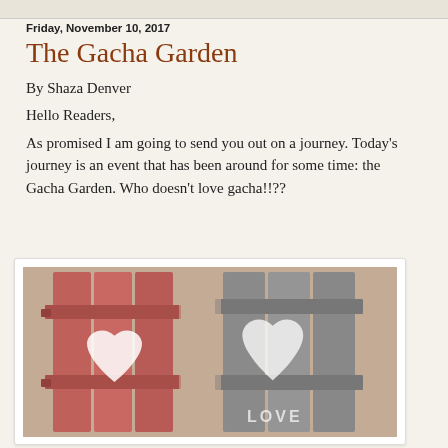Friday, November 10, 2017
The Gacha Garden
By Shaza Denver
Hello Readers,
As promised I am going to send you out on a journey.  Today's journey is an event that has been around for some time: the Gacha Garden.  Who doesn't love gacha!!??
[Figure (photo): Two wooden fence panels with painted hearts — one red/pink panel on the left and one grey panel on the right. The grey panel has 'LOVE' text at the bottom. Both panels are displayed against a tan/beige background.]